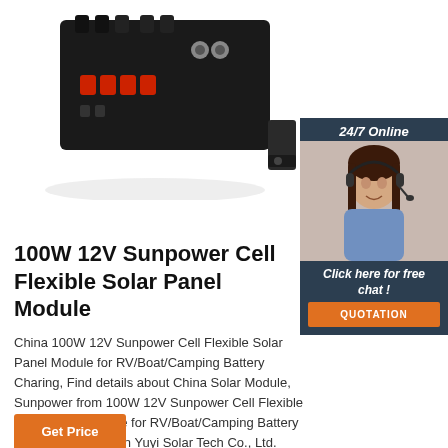[Figure (photo): Black electronic solar charge controller box with red and black terminal connectors on top, mounted on white background]
[Figure (photo): Chat widget showing a woman with headset smiling, with '24/7 Online' header, 'Click here for free chat!' text, and orange QUOTATION button]
100W 12V Sunpower Cell Flexible Solar Panel Module
China 100W 12V Sunpower Cell Flexible Solar Panel Module for RV/Boat/Camping Battery Charing, Find details about China Solar Module, Sunpower from 100W 12V Sunpower Cell Flexible Solar Panel Module for RV/Boat/Camping Battery Charing - Dongguan Yuyi Solar Tech Co., Ltd.
[Figure (other): Orange 'Get Price' button at bottom left]